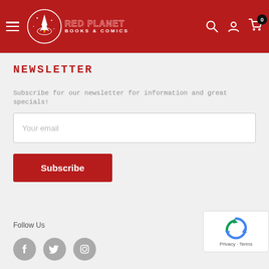[Figure (logo): Red Planet Books & Comics logo — rocket in circle with store name text on red header background]
NEWSLETTER
Subscribe for our newsletter for information and great specials!
Your email
Subscribe
Follow Us
[Figure (other): reCAPTCHA widget with Privacy and Terms links]